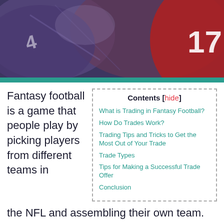[Figure (photo): Football players in action, close-up of jerseys, red and purple/blue team colors, number 17 visible]
Fantasy football is a game that people play by picking players from different teams in the NFL and assembling their own team.
| Contents [hide] |
| --- |
| What is Trading in Fantasy Football? |
| How Do Trades Work? |
| Trading Tips and Tricks to Get the Most Out of Your Trade |
| Trade Types |
| Tips for Making a Successful Trade Offer |
| Conclusion |
When it comes to trades, what are they?
How do they work?